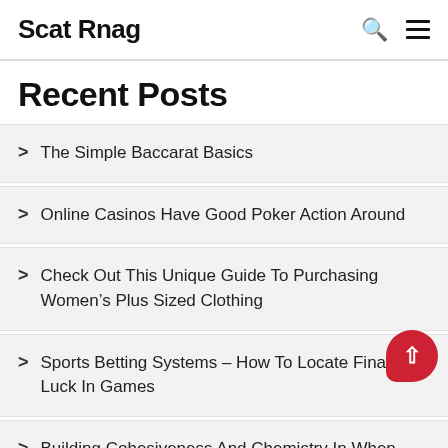Scat Rnag
Recent Posts
The Simple Baccarat Basics
Online Casinos Have Good Poker Action Around
Check Out This Unique Guide To Purchasing Women's Plus Sized Clothing
Sports Betting Systems – How To Locate Financial Luck In Games
Building Cohesiveness And Chemistry In When You Were 80 Football T...